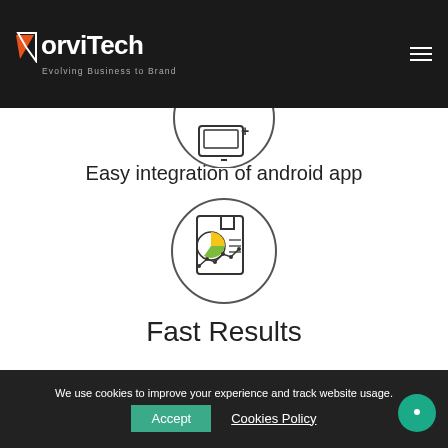YorviTech — Evolving Business to Brand
[Figure (illustration): Circular icon showing a tablet/phone with a plus sign, representing Android app integration]
Easy integration of android app
[Figure (illustration): Circular icon showing a report with a pie chart (yellow and green segments) and a line graph below it, representing fast results analytics]
Fast Results
Hire Us
We use cookies to improve your experience and track website usage.
Accept
Cookies Policy